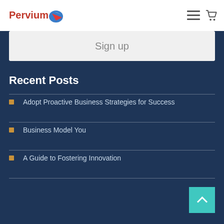Pervium [logo with shopping cart and menu icons]
Sign up
Recent Posts
Adopt Proactive Business Strategies for Success
Business Model You
A Guide to Fostering Innovation